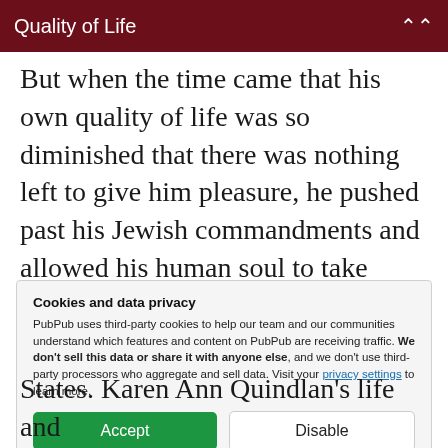Quality of Life
But when the time came that his own quality of life was so diminished that there was nothing left to give him pleasure, he pushed past his Jewish commandments and allowed his human soul to take precedence. He knew when it was time to die.
Cookies and data privacy
PubPub uses third-party cookies to help our team and our communities understand which features and content on PubPub are receiving traffic. We don't sell this data or share it with anyone else, and we don't use third-party processors who aggregate and sell data. Visit your privacy settings to learn more.
[Accept] [Disable]
States. Karen Ann Quindlan's life and